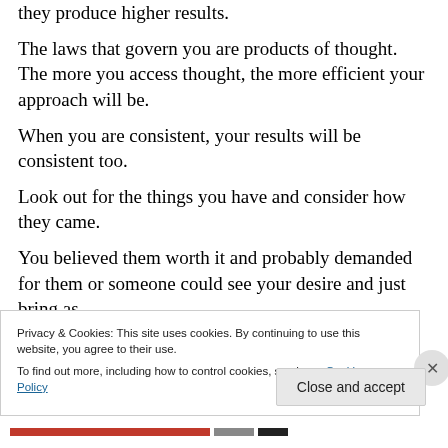they produce higher results.
The laws that govern you are products of thought. The more you access thought, the more efficient your approach will be.
When you are consistent, your results will be consistent too.
Look out for the things you have and consider how they came.
You believed them worth it and probably demanded for them or someone could see your desire and just bring as
Privacy & Cookies: This site uses cookies. By continuing to use this website, you agree to their use.
To find out more, including how to control cookies, see here: Cookie Policy
Close and accept